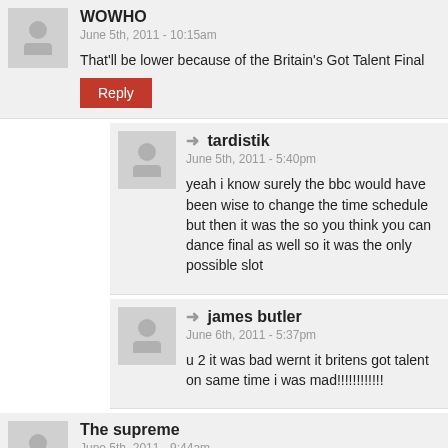WOWHO
June 5th, 2011 - 10:15am
That'll be lower because of the Britain's Got Talent Final
Reply
tardistik
June 5th, 2011 - 5:40pm
yeah i know surely the bbc would have been wise to change the time schedule but then it was the so you think you can dance final as well so it was the only possible slot
james butler
June 6th, 2011 - 5:37pm
u 2 it was bad wernt it britens got talent on same time i was mad!!!!!!!!!!!
The supreme
June 5th, 2011 - 9:44am
cool !!!!!!!!!!
Reply